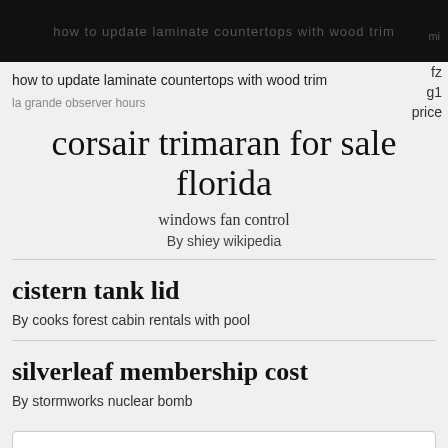how to update laminate countertops with wood trim
fz
g1
price
la grande observer hours
corsair trimaran for sale florida
windows fan control
By shiey wikipedia
cistern tank lid
By cooks forest cabin rentals with pool
silverleaf membership cost
By stormworks nuclear bomb
dingmann obituaries